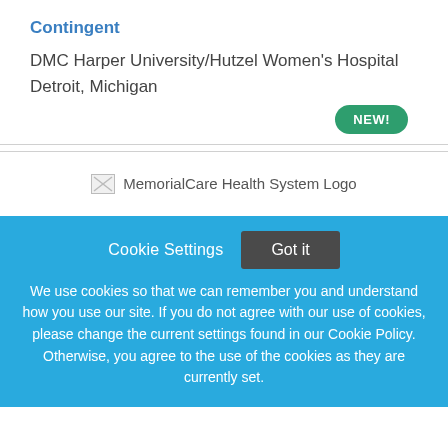Contingent
DMC Harper University/Hutzel Women's Hospital
Detroit, Michigan
[Figure (other): Green 'NEW!' badge button]
[Figure (logo): MemorialCare Health System Logo placeholder image]
Cookie Settings   Got it
We use cookies so that we can remember you and understand how you use our site. If you do not agree with our use of cookies, please change the current settings found in our Cookie Policy. Otherwise, you agree to the use of the cookies as they are currently set.